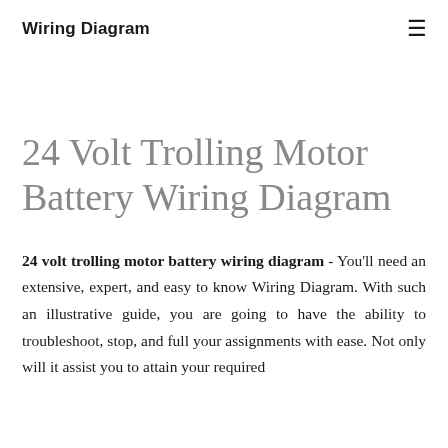Wiring Diagram
24 Volt Trolling Motor Battery Wiring Diagram
24 volt trolling motor battery wiring diagram - You'll need an extensive, expert, and easy to know Wiring Diagram. With such an illustrative guide, you are going to have the ability to troubleshoot, stop, and full your assignments with ease. Not only will it assist you to attain your required